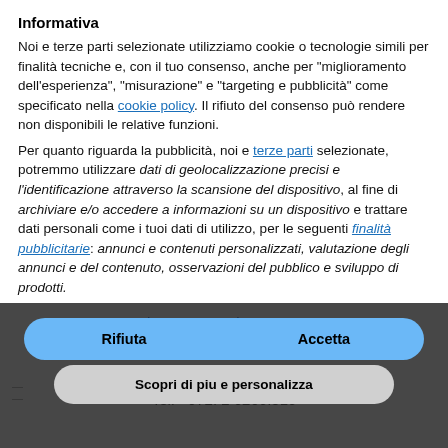Informativa
Noi e terze parti selezionate utilizziamo cookie o tecnologie simili per finalità tecniche e, con il tuo consenso, anche per "miglioramento dell'esperienza", "misurazione" e "targeting e pubblicità" come specificato nella cookie policy. Il rifiuto del consenso può rendere non disponibili le relative funzioni.
Per quanto riguarda la pubblicità, noi e terze parti selezionate, potremmo utilizzare dati di geolocalizzazione precisi e l'identificazione attraverso la scansione del dispositivo, al fine di archiviare e/o accedere a informazioni su un dispositivo e trattare dati personali come i tuoi dati di utilizzo, per le seguenti finalità pubblicitarie: annunci e contenuti personalizzati, valutazione degli annunci e del contenuto, osservazioni del pubblico e sviluppo di prodotti.
Rifiuta
Accetta
Scopri di piu e personalizza
Terra Santa Schools
Central Office of the Terra Santa Schools:
Jerusalem – St. Saviour's Monastery
St. Francis Road, 1
P.O.B. 186 – 9100101 Jerusalem
Tel. +972. 2 6266.510